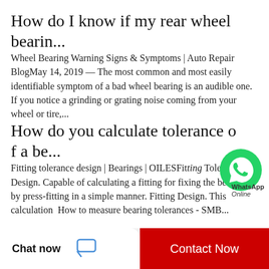How do I know if my rear wheel bearin...
Wheel Bearing Warning Signs & Symptoms | Auto Repair BlogMay 14, 2019 — The most common and most easily identifiable symptom of a bad wheel bearing is an audible one. If you notice a grinding or grating noise coming from your wheel or tire,...
How do you calculate tolerance of a be...
[Figure (logo): WhatsApp green circle logo with phone handset icon, labeled 'WhatsApp' and 'Online']
Fitting tolerance design | Bearings | OILESFitting Tolerance Design. Capable of calculating a fitting for fixing the bearings by press-fitting in a simple manner. Fitting Design. This calculation  How to measure bearing tolerances - SMB...
Chat now
Contact Now